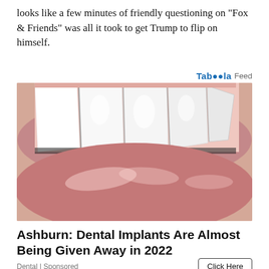looks like a few minutes of friendly questioning on "Fox & Friends" was all it took to get Trump to flip on himself.
[Figure (photo): Close-up photo of a person's mouth with bright white teeth and glossy lips against a pink/salmon background.]
Ashburn: Dental Implants Are Almost Being Given Away in 2022
Dental | Sponsored
Click Here